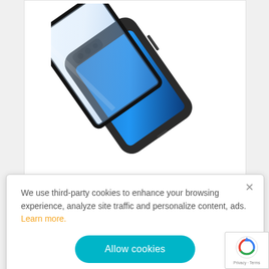[Figure (photo): Product photo showing a smartphone screen protector (tempered glass) and a dark phone case for iPhone 13 Pro, displayed at an angle with a blue gradient background on the phone screen.]
€19.95
We use third-party cookies to enhance your browsing experience, analyze site traffic and personalize content, ads. Learn more.
Allow cookies